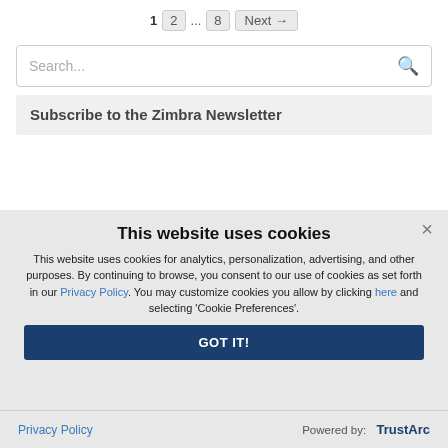1  2  ...  8  Next →
Search...
Subscribe to the Zimbra Newsletter
This website uses cookies
This website uses cookies for analytics, personalization, advertising, and other purposes. By continuing to browse, you consent to our use of cookies as set forth in our Privacy Policy. You may customize cookies you allow by clicking here and selecting 'Cookie Preferences'.
GOT IT!
Privacy Policy  |  Powered by: TrustArc